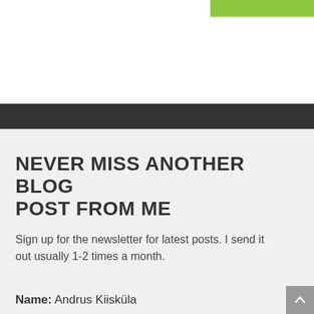[Figure (other): Green button/banner in top-right corner of white header area]
[Figure (other): Dark gray horizontal navigation bar]
NEVER MISS ANOTHER BLOG POST FROM ME
Sign up for the newsletter for latest posts. I send it out usually 1-2 times a month.
Name: Andrus Kiisküla
[Figure (other): Gray scroll-to-top button in bottom-right corner with upward chevron]